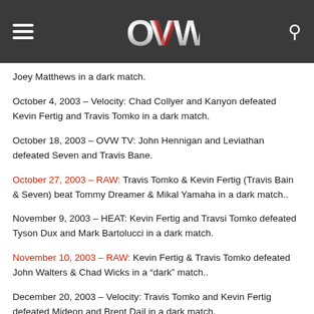OVW (navigation header with logo, hamburger menu, search icon)
Joey Matthews in a dark match.
October 4, 2003 – Velocity: Chad Collyer and Kanyon defeated Kevin Fertig and Travis Tomko in a dark match.
October 18, 2003 – OVW TV: John Hennigan and Leviathan defeated Seven and Travis Bane.
October 27, 2003 – RAW: Travis Tomko & Kevin Fertig (Travis Bain & Seven) beat Tommy Dreamer & Mikal Yamaha in a dark match..
November 9, 2003 – HEAT: Kevin Fertig and Travsi Tomko defeated Tyson Dux and Mark Bartolucci in a dark match.
November 10, 2003 – RAW: Kevin Fertig & Travis Tomko defeated John Walters & Chad Wicks in a “dark” match..
December 20, 2003 – Velocity: Travis Tomko and Kevin Fertig defeated Mideon and Brent Dail in a dark match.